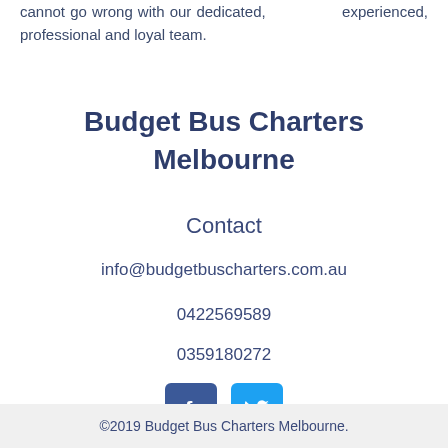cannot go wrong with our dedicated, experienced, professional and loyal team.
Budget Bus Charters Melbourne
Contact
info@budgetbuscharters.com.au
0422569589
0359180272
[Figure (logo): Facebook and Twitter social media icons]
©2019 Budget Bus Charters Melbourne.